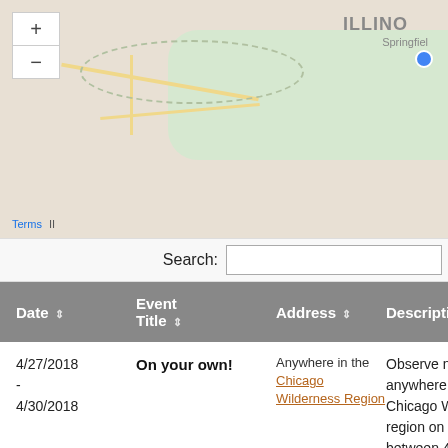[Figure (map): Map showing Illinois region with Springfield label and zoom controls. Tan/beige background with green area and yellow roads. Map controls show + and - buttons.]
Search:
| Date | Event Title | Address | Description | More I |
| --- | --- | --- | --- | --- |
| 4/27/2018 - 4/30/2018 | On your own! | Anywhere in the Chicago Wilderness Region | Observe nature anywhere in the Chicago Wilderness region on your own between 4/27 and 4/30 (96-hour period)! Just submit your | Scroll u |